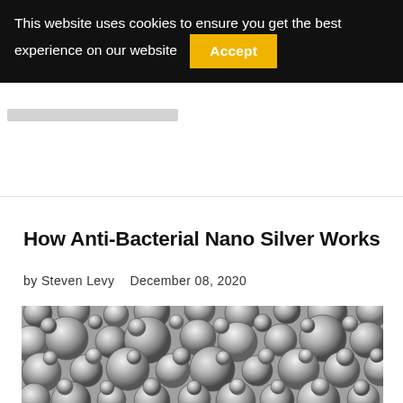This website uses cookies to ensure you get the best experience on our website  Accept
How Anti-Bacterial Nano Silver Works
by Steven Levy   December 08, 2020
[Figure (photo): Close-up photograph of many silver metallic spheres (nanoparticles) clustered together, showing reflective silver surfaces against a grey background.]